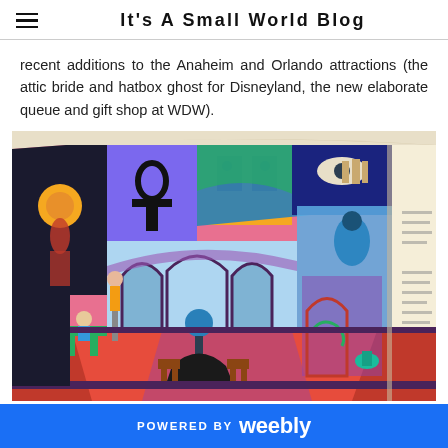It's A Small World Blog
recent additions to the Anaheim and Orlando attractions (the attic bride and hatbox ghost for Disneyland, the new elaborate queue and gift shop at WDW).
[Figure (photo): A photograph of an open book showing colorful concept art for a Haunted Mansion-style room with Egyptian and occult motifs, pink walls, archways, and vibrant geometric patterns.]
POWERED BY weebly